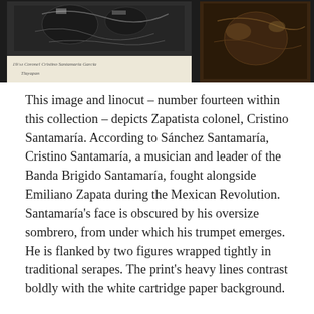[Figure (photo): Two images side by side on a dark background. Left: a linocut print on cream/white paper showing dark figures, with a handwritten caption below reading '19/50 Coronel Cristino Santamaría García / Tlayapan'. Right: a darker image showing a figure against a dark brown background.]
This image and linocut – number fourteen within this collection – depicts Zapatista colonel, Cristino Santamaría. According to Sánchez Santamaría, Cristino Santamaría, a musician and leader of the Banda Brigido Santamaría, fought alongside Emiliano Zapata during the Mexican Revolution. Santamaría's face is obscured by his oversize sombrero, from under which his trumpet emerges. He is flanked by two figures wrapped tightly in traditional serapes. The print's heavy lines contrast boldly with the white cartridge paper background.
Close examination of the linocut reveals something of Sánchez Santamaría's technique. Cuts are of varying depth, to achieve different sorts of